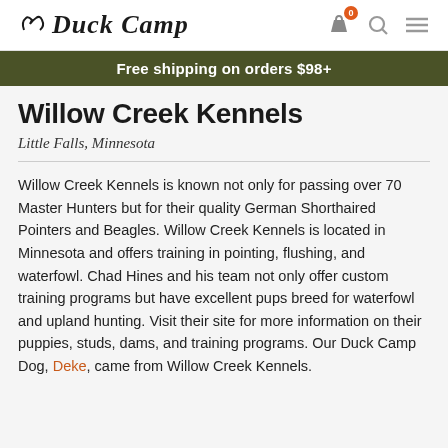Duck Camp
Free shipping on orders $98+
Willow Creek Kennels
Little Falls, Minnesota
Willow Creek Kennels is known not only for passing over 70 Master Hunters but for their quality German Shorthaired Pointers and Beagles. Willow Creek Kennels is located in Minnesota and offers training in pointing, flushing, and waterfowl. Chad Hines and his team not only offer custom training programs but have excellent pups breed for waterfowl and upland hunting. Visit their site for more information on their puppies, studs, dams, and training programs. Our Duck Camp Dog, Deke, came from Willow Creek Kennels.